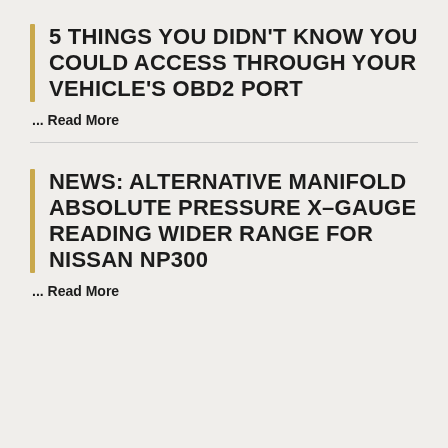5 THINGS YOU DIDN'T KNOW YOU COULD ACCESS THROUGH YOUR VEHICLE'S OBD2 PORT
... Read More
NEWS: ALTERNATIVE MANIFOLD ABSOLUTE PRESSURE X-GAUGE READING WIDER RANGE FOR NISSAN NP300
... Read More